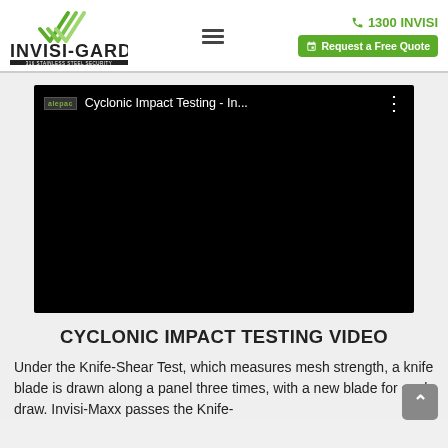INVISI-GARD 316 STAINLESS STEEL SECURITY | 1300 INVISI | Request a Free Quote
[Figure (screenshot): Embedded YouTube-style video player with black background showing 'Cyclonic Impact Testing - In...' as title with a channel logo on the left and a three-dot menu icon on the right.]
CYCLONIC IMPACT TESTING VIDEO
Under the Knife-Shear Test, which measures mesh strength, a knife blade is drawn along a panel three times, with a new blade for each draw. Invisi-Maxx passes the Knife-